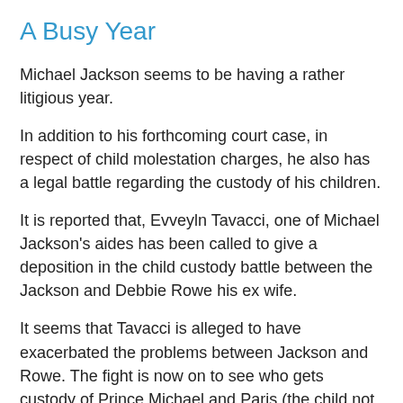A Busy Year
Michael Jackson seems to be having a rather litigious year.
In addition to his forthcoming court case, in respect of child molestation charges, he also has a legal battle regarding the custody of his children.
It is reported that, Evveyln Tavacci, one of Michael Jackson's aides has been called to give a deposition in the child custody battle between the Jackson and Debbie Rowe his ex wife.
It seems that Tavacci is alleged to have exacerbated the problems between Jackson and Rowe. The fight is now on to see who gets custody of Prince Michael and Paris (the child not the city).
Rowe is reported to be claiming the Jackson has violated the divorce agreement.
I wonder if Michael will be continuing to sit-on... something...